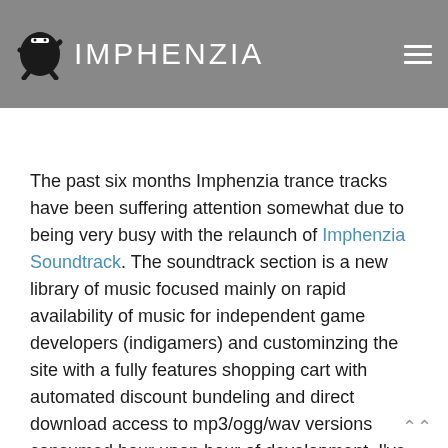Couldn't load plugin.
[Figure (logo): Imphenzia logo: stylized ninja character icon in black with white text 'IMPHENZIA' on grey header bar]
The past six months Imphenzia trance tracks have been suffering attention somewhat due to being very busy with the relaunch of Imphenzia Soundtrack. The soundtrack section is a new library of music focused mainly on rapid availability of music for independent game developers (indigamers) and custominzing the site with a fully features shopping cart with automated discount bundeling and direct download access to mp3/ogg/wav versions consumed hour upon hour of development. I've also been receiving requests to create custom music for some indiegames and which has been very exciting and fun. These tracks will be available for promotional use once the games have been released.